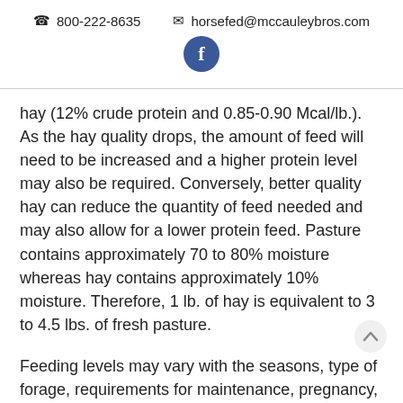📞 800-222-8635   ✉ horsefed@mccauleybros.com
[Figure (logo): Facebook 'f' icon in dark blue circle]
hay (12% crude protein and 0.85-0.90 Mcal/lb.). As the hay quality drops, the amount of feed will need to be increased and a higher protein level may also be required. Conversely, better quality hay can reduce the quantity of feed needed and may also allow for a lower protein feed. Pasture contains approximately 70 to 80% moisture whereas hay contains approximately 10% moisture. Therefore, 1 lb. of hay is equivalent to 3 to 4.5 lbs. of fresh pasture.
Feeding levels may vary with the seasons, type of forage, requirements for maintenance, pregnancy, lactation, growth, amount of work and the general conditions of the horse. Always provide recommended